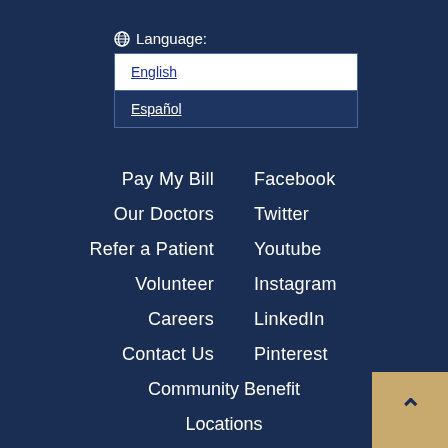Language:
English
Español
Pay My Bill
Facebook
Our Doctors
Twitter
Refer a Patient
Youtube
Volunteer
Instagram
Careers
LinkedIn
Contact Us
Pinterest
Community Benefit
Locations